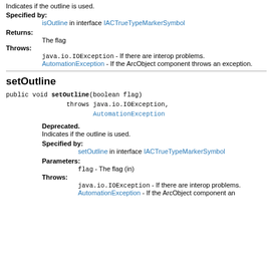Indicates if the outline is used.
Specified by:
isOutline in interface IACTrueTypeMarkerSymbol
Returns:
The flag
Throws:
java.io.IOException - If there are interop problems.
AutomationException - If the ArcObject component throws an exception.
setOutline
public void setOutline(boolean flag)
        throws java.io.IOException,
               AutomationException
Deprecated.
Indicates if the outline is used.
Specified by:
setOutline in interface IACTrueTypeMarkerSymbol
Parameters:
flag - The flag (in)
Throws:
java.io.IOException - If there are interop problems.
AutomationException - If the ArcObject component an